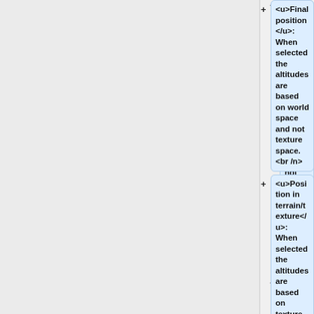<u>Final position</u>: When selected the altitudes are based on world space and not texture space. <br /n>
<u>Position in terrain/texture</u>: When selected the altitudes are based on texture space
</ul>
*""Use Y:"